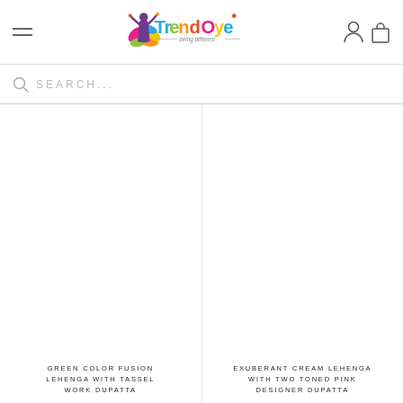TrendOye — being different
SEARCH...
[Figure (photo): Product image area for Green Color Fusion Lehenga with Tassel Work Dupatta — white/blank product photo]
GREEN COLOR FUSION LEHENGA WITH TASSEL WORK DUPATTA
[Figure (photo): Product image area for Exuberant Cream Lehenga with Two Toned Pink Designer Dupatta — white/blank product photo]
EXUBERANT CREAM LEHENGA WITH TWO TONED PINK DESIGNER DUPATTA